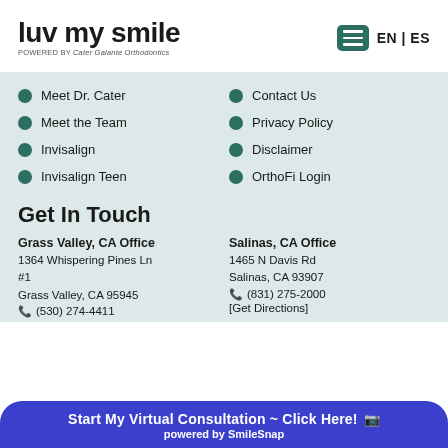luv my smile | powered by Cater Galante Orthodontics | EN | ES
Meet Dr. Cater
Contact Us
Meet the Team
Privacy Policy
Invisalign
Disclaimer
Invisalign Teen
OrthoFi Login
Get In Touch
Grass Valley, CA Office
1364 Whispering Pines Ln
#1
Grass Valley, CA 95945
(530) 274-4411
Salinas, CA Office
1465 N Davis Rd
Salinas, CA 93907
(831) 275-2000
[Get Directions]
Start My Virtual Consultation ~ Click Here! powered by SmileSnap